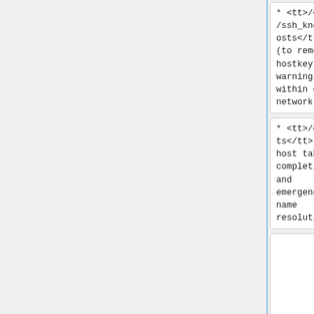| * <tt>/etc/ssh/ssh_known_hosts</tt> (to remove hostkey warnings within our network) | * <tt>/etc/ssh/ssh_known_hosts</tt> (to remove hostkey warnings within our network) |
| * <tt>/etc/hosts</tt> (for host tab completion and emergency name resolution) | * <tt>/etc/hosts</tt> (for host tab completion and emergency name resolution) |
|  | * <tt>/etc/resolv.conf</tt> (to use |